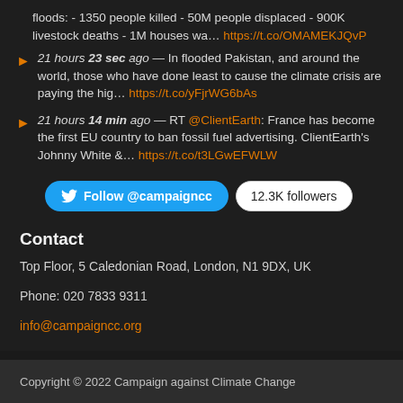floods: - 1350 people killed - 50M people displaced - 900K livestock deaths - 1M houses wa… https://t.co/OMAMEKJQvP
21 hours 23 sec ago — In flooded Pakistan, and around the world, those who have done least to cause the climate crisis are paying the hig… https://t.co/yFjrWG6bAs
21 hours 14 min ago — RT @ClientEarth: France has become the first EU country to ban fossil fuel advertising. ClientEarth's Johnny White &… https://t.co/t3LGwEFWLW
[Figure (other): Twitter Follow @campaigncc button with 12.3K followers badge]
Contact
Top Floor, 5 Caledonian Road, London, N1 9DX, UK
Phone: 020 7833 9311
info@campaigncc.org
Copyright © 2022 Campaign against Climate Change